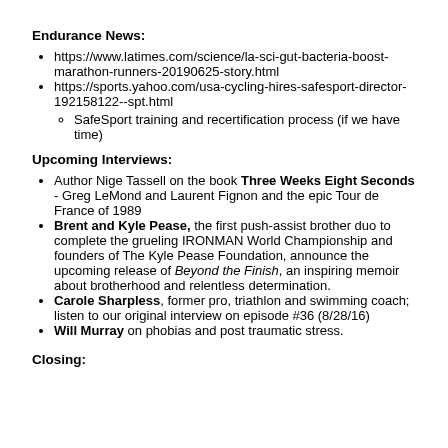Endurance News:
https://www.latimes.com/science/la-sci-gut-bacteria-boost-marathon-runners-20190625-story.html
https://sports.yahoo.com/usa-cycling-hires-safesport-director-192158122--spt.html
SafeSport training and recertification process (if we have time)
Upcoming Interviews:
Author Nige Tassell on the book Three Weeks Eight Seconds - Greg LeMond and Laurent Fignon and the epic Tour de France of 1989
Brent and Kyle Pease, the first push-assist brother duo to complete the grueling IRONMAN World Championship and founders of The Kyle Pease Foundation, announce the upcoming release of Beyond the Finish, an inspiring memoir about brotherhood and relentless determination.
Carole Sharpless, former pro, triathlon and swimming coach; listen to our original interview on episode #36 (8/28/16)
Will Murray on phobias and post traumatic stress.
Closing: